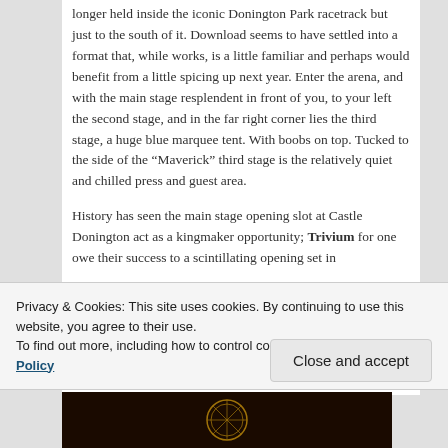longer held inside the iconic Donington Park racetrack but just to the south of it. Download seems to have settled into a format that, while works, is a little familiar and perhaps would benefit from a little spicing up next year. Enter the arena, and with the main stage resplendent in front of you, to your left the second stage, and in the far right corner lies the third stage, a huge blue marquee tent. With boobs on top. Tucked to the side of the “Maverick” third stage is the relatively quiet and chilled press and guest area.
History has seen the main stage opening slot at Castle Donington act as a kingmaker opportunity; Trivium for one owe their success to a scintillating opening set in
Privacy & Cookies: This site uses cookies. By continuing to use this website, you agree to their use.
To find out more, including how to control cookies, see here: Cookie Policy
Close and accept
[Figure (photo): Dark image at bottom of page, appears to show a circular emblem or logo on a dark background]